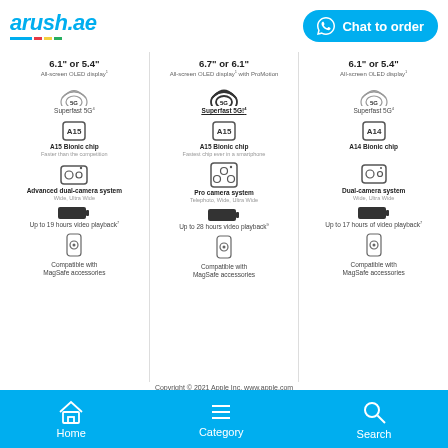arush.ae | Chat to order
[Figure (infographic): Three-column iPhone comparison infographic showing iPhone 13, iPhone 13 Pro, and iPhone 12 features including display size, 5G, chip, camera, battery, and MagSafe. Column 1: 6.1" or 5.4", All-screen OLED display, Superfast 5G, A15 Bionic chip Faster than the competition, Advanced dual-camera system Wide Ultra Wide, Up to 19 hours video playback, Compatible with MagSafe accessories. Column 2: 6.7" or 6.1", All-screen OLED display with ProMotion, Superfast 5G!, A15 Bionic chip Fastest chip ever in a smartphone, Pro camera system Telephoto Wide Ultra Wide, Up to 28 hours video playback, Compatible with MagSafe accessories. Column 3: 6.1" or 5.4", All-screen OLED display, Superfast 5G, A14 Bionic chip, Dual-camera system Wide Ultra Wide, Up to 17 hours of video playback, Compatible with MagSafe accessories.]
Copyright © 2021 Apple Inc. www.apple.com
Home | Category | Search